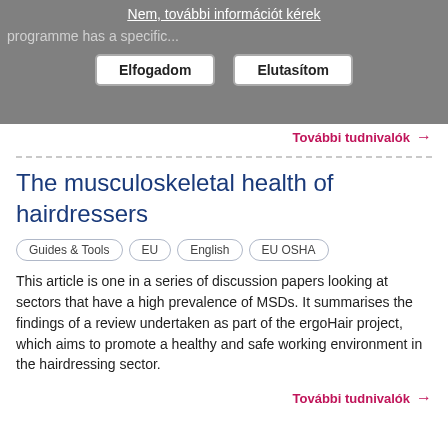[Figure (screenshot): Cookie consent banner overlay with Hungarian text 'Nem, további információt kérek', grey background, two buttons labeled 'Elfogadom' and 'Elutasítom', and partial text 'programme has a specific...']
További tudnivalók →
The musculoskeletal health of hairdressers
Guides & Tools   EU   English   EU OSHA
This article is one in a series of discussion papers looking at sectors that have a high prevalence of MSDs. It summarises the findings of a review undertaken as part of the ergoHair project, which aims to promote a healthy and safe working environment in the hairdressing sector.
További tudnivalók →